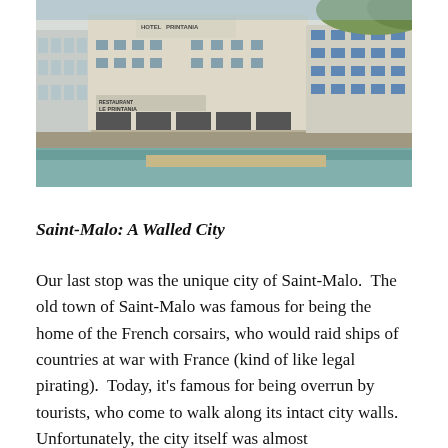[Figure (photo): Photograph of Saint-Malo waterfront showing multi-story white and cream buildings with blue shutters and balconies, a stone seawall, and teal-green water in the foreground. A sign reading 'Restaurant Le Printania' is visible on one of the buildings.]
Saint-Malo: A Walled City
Our last stop was the unique city of Saint-Malo.  The old town of Saint-Malo was famous for being the home of the French corsairs, who would raid ships of countries at war with France (kind of like legal pirating).  Today, it's famous for being overrun by tourists, who come to walk along its intact city walls.  Unfortunately, the city itself was almost